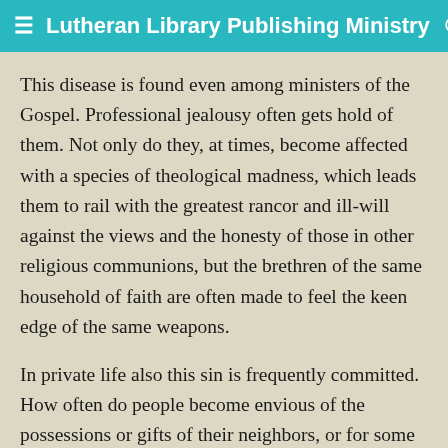≡ Lutheran Library Publishing Ministry 🌙
This disease is found even among ministers of the Gospel. Professional jealousy often gets hold of them. Not only do they, at times, become affected with a species of theological madness, which leads them to rail with the greatest rancor and ill-will against the views and the honesty of those in other religious communions, but the brethren of the same household of faith are often made to feel the keen edge of the same weapons.
In private life also this sin is frequently committed. How often do people become envious of the possessions or gifts of their neighbors, or for some other reason come to dislike them; then the process of detraction begins. All kinds of insinuations as to the secret of their success are set in motion. Veiled hints are thrown out as to the